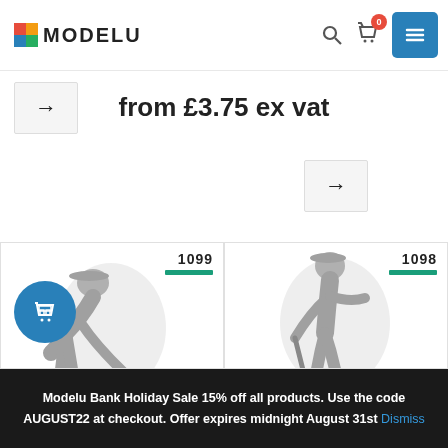[Figure (screenshot): Modelu website header with logo, search icon, cart button with 0 badge, and blue hamburger menu button]
[Figure (screenshot): Back arrow navigation button (gray box with right arrow)]
from £3.75 ex vat
[Figure (screenshot): Forward arrow navigation button (gray box with right arrow)]
[Figure (photo): 3D model figure 1099 - man bending forward sweeping with broom]
[Figure (photo): 3D model figure 1098 - man standing with long tool/rake]
Modelu Bank Holiday Sale 15% off all products. Use the code AUGUST22 at checkout. Offer expires midnight August 31st Dismiss